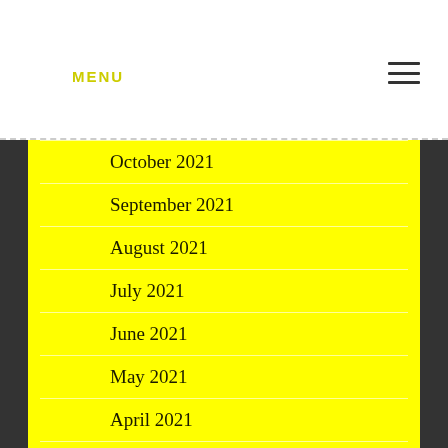MENU
October 2021
September 2021
August 2021
July 2021
June 2021
May 2021
April 2021
March 2021
February 2021